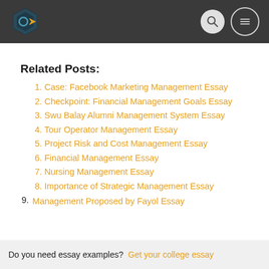[Figure (logo): Circular logo with teal/dark blue hexagon shape and orange/yellow arrow element]
Related Posts:
Case: Facebook Marketing Management Essay
Checkpoint: Financial Management Goals Essay
Swu Balay Alumni Management System Essay
Tour Operator Management Essay
Project Risk and Cost Management Essay
Financial Management Essay
Nursing Management Essay
Importance of Strategic Management Essay
Management Proposed by Fayol Essay
Do you need essay examples? Get your college essay